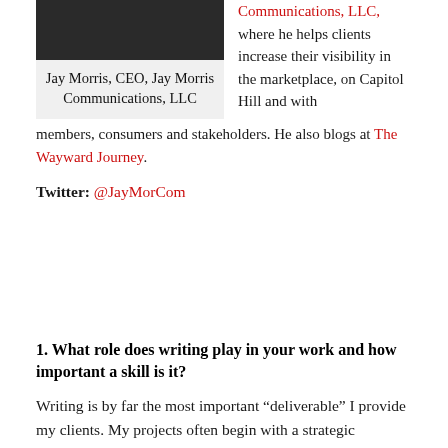[Figure (photo): Dark photo strip at top, partially visible image of Jay Morris]
Jay Morris, CEO, Jay Morris Communications, LLC
Communications, LLC, where he helps clients increase their visibility in the marketplace, on Capitol Hill and with members, consumers and stakeholders. He also blogs at The Wayward Journey.
Twitter: @JayMorCom
1. What role does writing play in your work and how important a skill is it?
Writing is by far the most important “deliverable” I provide my clients. My projects often begin with a strategic